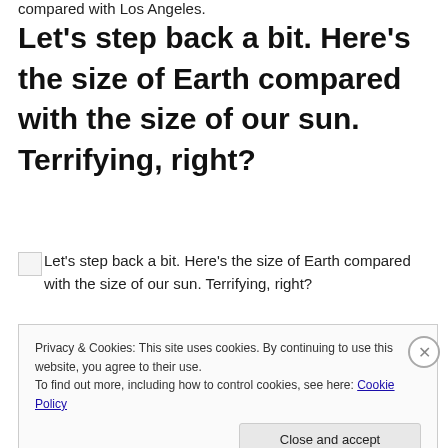compared with Los Angeles.
Let's step back a bit. Here's the size of Earth compared with the size of our sun. Terrifying, right?
[Figure (photo): Broken image placeholder with alt text: Let's step back a bit. Here's the size of Earth compared with the size of our sun. Terrifying, right?]
Privacy & Cookies: This site uses cookies. By continuing to use this website, you agree to their use.
To find out more, including how to control cookies, see here: Cookie Policy
Close and accept